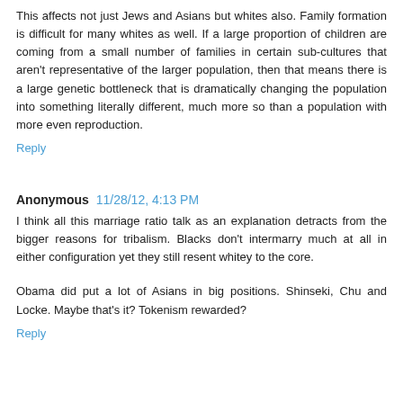This affects not just Jews and Asians but whites also. Family formation is difficult for many whites as well. If a large proportion of children are coming from a small number of families in certain sub-cultures that aren't representative of the larger population, then that means there is a large genetic bottleneck that is dramatically changing the population into something literally different, much more so than a population with more even reproduction.
Reply
Anonymous 11/28/12, 4:13 PM
I think all this marriage ratio talk as an explanation detracts from the bigger reasons for tribalism. Blacks don't intermarry much at all in either configuration yet they still resent whitey to the core.
Obama did put a lot of Asians in big positions. Shinseki, Chu and Locke. Maybe that's it? Tokenism rewarded?
Reply